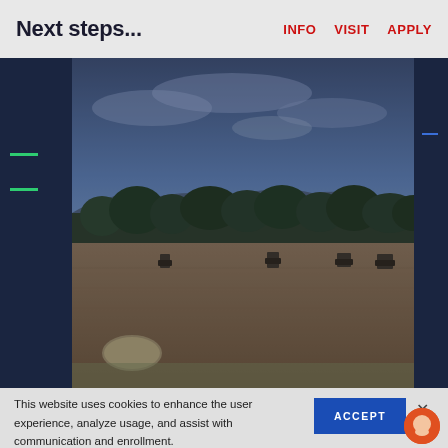Next steps...   INFO   VISIT   APPLY
[Figure (photo): Aerial or wide-angle view of a harvested agricultural field with hay bales, farm equipment in the distance, a treeline on the horizon, and a cloudy blue sky.]
This website uses cookies to enhance the user experience, analyze usage, and assist with communication and enrollment.
Learn more about our Privacy Policy.